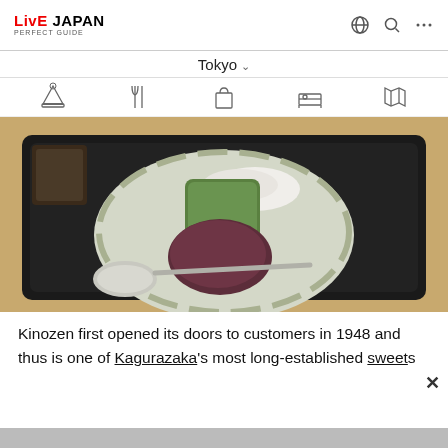LIVE JAPAN PERFECT GUIDE
Tokyo
[Figure (photo): A bowl of Japanese wagashi sweets featuring green mochi, white cream, and red bean paste served on a black tray with a spoon]
Kinozen first opened its doors to customers in 1948 and thus is one of Kagurazaka's most long-established sweets